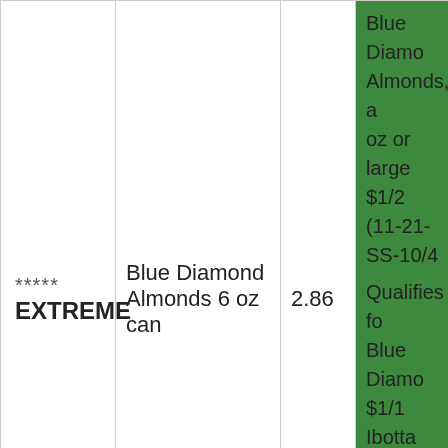| Rating | Product | Price | Details |
| --- | --- | --- | --- |
| ***** EXTREME | Blue Diamond Almonds 6 oz can | 2.86 | Blue Diamond Almonds, a oz or larger $1/2 (11-21- SS-10/4
Qualifies fo Blue Diamo $1/1 Ibotta Rebate (active) This Link (Limit 5 |
| ***** FREE | Clio Granola and Yogurt Parfait Bars | 1.98 | Qualifies fo Clio $1.98/1 Ibotta Reba (active) Thi |